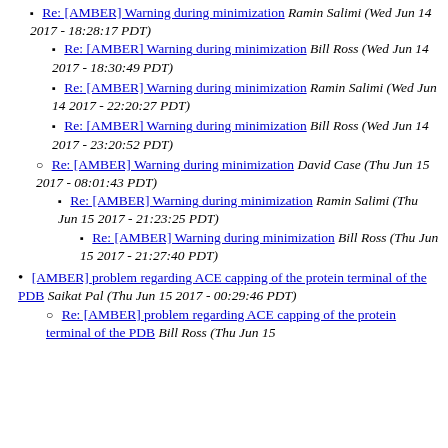Re: [AMBER] Warning during minimization Ramin Salimi (Wed Jun 14 2017 - 18:28:17 PDT)
Re: [AMBER] Warning during minimization Bill Ross (Wed Jun 14 2017 - 18:30:49 PDT)
Re: [AMBER] Warning during minimization Ramin Salimi (Wed Jun 14 2017 - 22:20:27 PDT)
Re: [AMBER] Warning during minimization Bill Ross (Wed Jun 14 2017 - 23:20:52 PDT)
Re: [AMBER] Warning during minimization David Case (Thu Jun 15 2017 - 08:01:43 PDT)
Re: [AMBER] Warning during minimization Ramin Salimi (Thu Jun 15 2017 - 21:23:25 PDT)
Re: [AMBER] Warning during minimization Bill Ross (Thu Jun 15 2017 - 21:27:40 PDT)
[AMBER] problem regarding ACE capping of the protein terminal of the PDB Saikat Pal (Thu Jun 15 2017 - 00:29:46 PDT)
Re: [AMBER] problem regarding ACE capping of the protein terminal of the PDB Bill Ross (Thu Jun 15